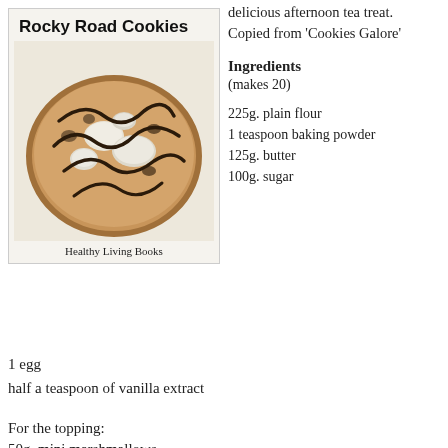Rocky Road Cookies
[Figure (photo): Photo of a Rocky Road Cookie topped with mini marshmallows and chocolate drizzle, with caption 'Healthy Living Books']
delicious afternoon tea treat. Copied from 'Cookies Galore'
Ingredients
(makes 20)
225g. plain flour
1 teaspoon baking powder
125g. butter
100g. sugar
1 egg
half a teaspoon of vanilla extract
For the topping:
50g. mini marshmallows